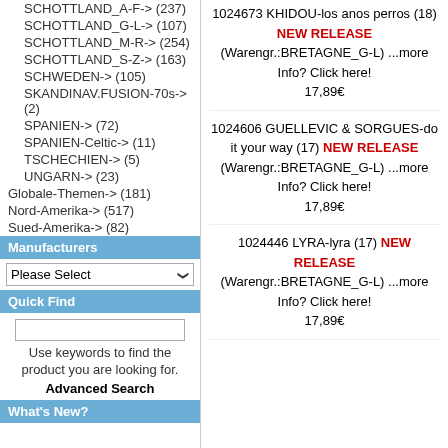SCHOTTLAND_A-F-> (237)
SCHOTTLAND_G-L-> (107)
SCHOTTLAND_M-R-> (254)
SCHOTTLAND_S-Z-> (163)
SCHWEDEN-> (105)
SKANDINAV.FUSION-70s-> (2)
SPANIEN-> (72)
SPANIEN-Celtic-> (11)
TSCHECHIEN-> (5)
UNGARN-> (23)
Globale-Themen-> (181)
Nord-Amerika-> (517)
Sued-Amerika-> (82)
Manufacturers
Please Select
Quick Find
Use keywords to find the product you are looking for.
Advanced Search
What's New?
1024673 KHIDOU-los anos perros (18) NEW RELEASE (Warengr.:BRETAGNE_G-L) ...more Info? Click here! 17,89€
1024606 GUELLEVIC & SORGUES-do it your way (17) NEW RELEASE (Warengr.:BRETAGNE_G-L) ...more Info? Click here! 17,89€
1024446 LYRA-lyra (17) NEW RELEASE (Warengr.:BRETAGNE_G-L) ...more Info? Click here! 17,89€